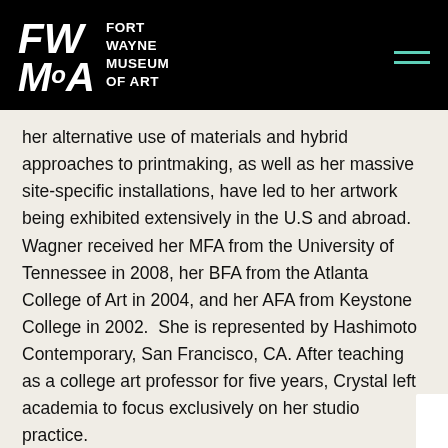[Figure (logo): Fort Wayne Museum of Art logo — stylized FWMoA lettering in white on black background, with museum name text to the right]
her alternative use of materials and hybrid approaches to printmaking, as well as her massive site-specific installations, have led to her artwork being exhibited extensively in the U.S and abroad. Wagner received her MFA from the University of Tennessee in 2008, her BFA from the Atlanta College of Art in 2004, and her AFA from Keystone College in 2002.  She is represented by Hashimoto Contemporary, San Francisco, CA. After teaching as a college art professor for five years, Crystal left academia to focus exclusively on her studio practice.
This exhibit is curated by Adjunct Curator of